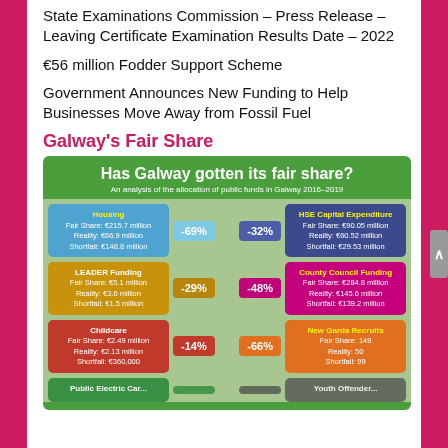State Examinations Commission – Press Release – Leaving Certificate Examination Results Date – 2022
€56 million Fodder Support Scheme
Government Announces New Funding to Help Businesses Move Away from Fossil Fuel
Galway's Fair Share
[Figure (infographic): Infographic titled 'Has Galway gotten its fair share? An analysis of the allocation of public funds in Galway 2016-2019'. Shows 6 categories with fair share, reality, and shortfall values: Housing (-69%), HSE Capital Expenditure (-32%), LEADER Funding (-29%), County Council Funding (-48%), Childcare (-14%), New Garda Recruits (-66%), and a partially visible Public Electric Car and Youth Offender row at the bottom.]